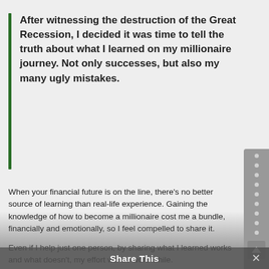After witnessing the destruction of the Great Recession, I decided it was time to tell the truth about what I learned on my millionaire journey. Not only successes, but also my many ugly mistakes.
When your financial future is on the line, there's no better source of learning than real-life experience. Gaining the knowledge of how to become a millionaire cost me a bundle, financially and emotionally, so I feel compelled to share it.

Even if I help just one person, by sharing what I learned works and what doesn't, my effort will be worthwhile.

Maybe that one person is you.
My success will be measured by helping you get to your goals more quickly. You can achieve this by applying what I've found works and